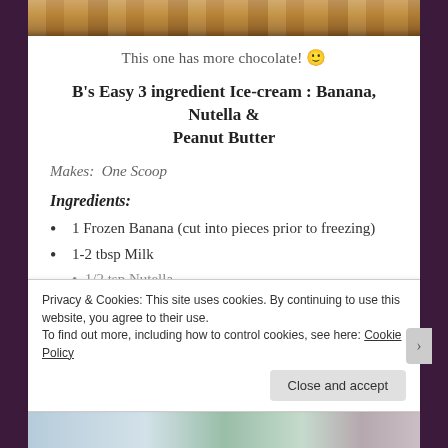[Figure (photo): Close-up food photo strip at top of page showing what appears to be chocolate/caramel ice cream or dessert]
This one has more chocolate! 🙂
B's Easy 3 ingredient Ice-cream : Banana, Nutella & Peanut Butter
Makes: One Scoop
Ingredients:
1 Frozen Banana (cut into pieces prior to freezing)
1-2 tbsp Milk
1/2 tsp Nutella
Privacy & Cookies: This site uses cookies. By continuing to use this website, you agree to their use.
To find out more, including how to control cookies, see here: Cookie Policy
Close and accept